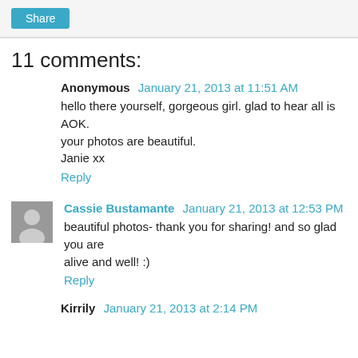[Figure (screenshot): Share button (teal/blue rounded rectangle)]
11 comments:
Anonymous January 21, 2013 at 11:51 AM
hello there yourself, gorgeous girl. glad to hear all is AOK. your photos are beautiful.
Janie xx
Reply
Cassie Bustamante January 21, 2013 at 12:53 PM
beautiful photos- thank you for sharing! and so glad you are alive and well! :)
Reply
Kirrily January 21, 2013 at 2:14 PM